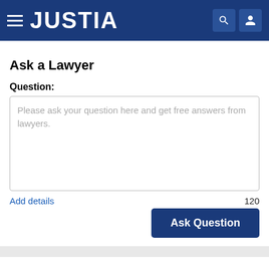JUSTIA
Ask a Lawyer
Question:
Please ask your question here and get free answers from lawyers.
Add details
120
Ask Question
Leaderboard
Oklahoma
Copyright
Last 365 Days